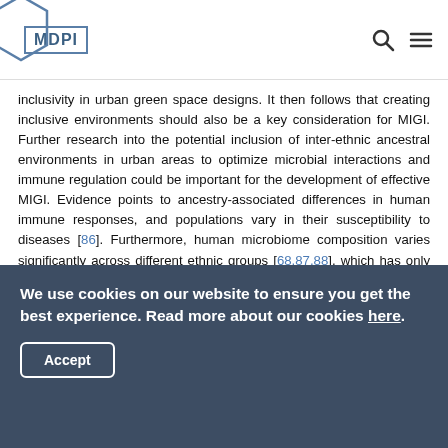MDPI
inclusivity in urban green space designs. It then follows that creating inclusive environments should also be a key consideration for MIGI. Further research into the potential inclusion of inter-ethnic ancestral environments in urban areas to optimize microbial interactions and immune regulation could be important for the development of effective MIGI. Evidence points to ancestry-associated differences in human immune responses, and populations vary in their susceptibility to diseases [86]. Furthermore, human microbiome composition varies significantly across different ethnic groups [68,87,88], which has only been partially explained by factors such as sociodemographic dynamics and diet [89,90].
We use cookies on our website to ensure you get the best experience. Read more about our cookies here.